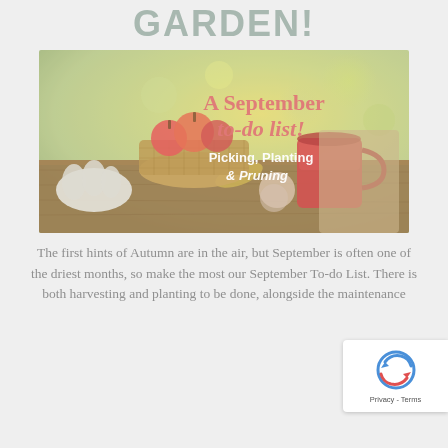GARDEN!
[Figure (photo): Autumn garden scene with text overlay reading 'A September to-do list! Picking, Planting & Pruning'. Shows pumpkins, apples, a red mug, gardening gloves on a wooden table with fall foliage background.]
The first hints of Autumn are in the air, but September is often one of the driest months, so make the most our September To-do List. There is both harvesting and planting to be done, alongside the maintenance